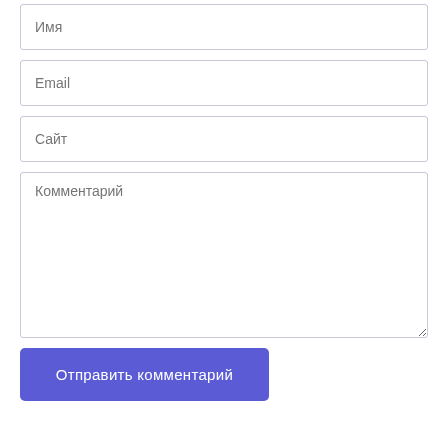[Figure (other): Web comment form with input fields for Name (Имя), Email, Website (Сайт), Comment (Комментарий), and a Submit button (Отправить комментарий)]
Имя
Email
Сайт
Комментарий
Отправить комментарий